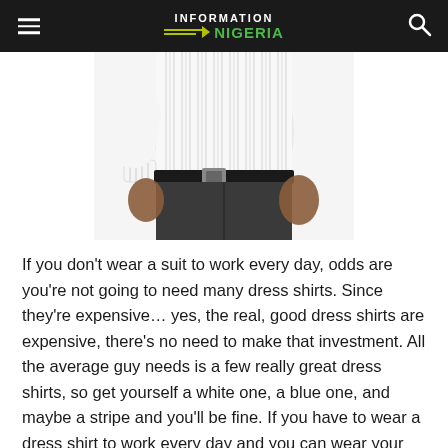INFORMATION NIGERIA
[Figure (photo): A person wearing a white striped dress shirt tucked into dark grey trousers with a black belt, hands on hips, torso and lower body visible.]
If you don't wear a suit to work every day, odds are you're not going to need many dress shirts. Since they're expensive… yes, the real, good dress shirts are expensive, there's no need to make that investment. All the average guy needs is a few really great dress shirts, so get yourself a white one, a blue one, and maybe a stripe and you'll be fine. If you have to wear a dress shirt to work every day and you can wear your shirt more than one daily due to the weather condition that means you'd sweat so much your shirt gets dirty, well,